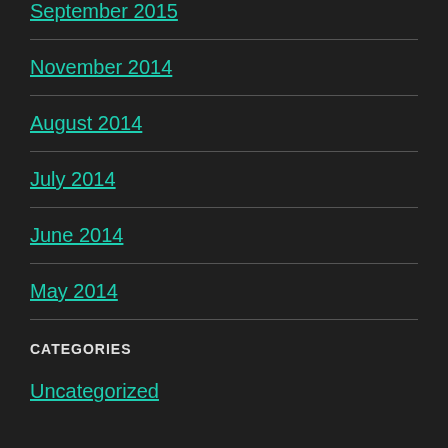September 2015
November 2014
August 2014
July 2014
June 2014
May 2014
CATEGORIES
Uncategorized